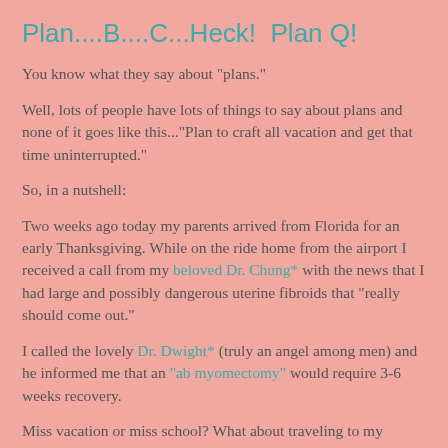Plan....B....C...Heck! Plan Q!
You know what they say about "plans."
Well, lots of people have lots of things to say about plans and none of it goes like this..."Plan to craft all vacation and get that time uninterrupted."
So, in a nutshell:
Two weeks ago today my parents arrived from Florida for an early Thanksgiving. While on the ride home from the airport I received a call from my beloved Dr. Chung* with the news that I had large and possibly dangerous uterine fibroids that "really should come out."
I called the lovely Dr. Dwight* (truly an angel among men) and he informed me that an "ab myomectomy" would require 3-6 weeks recovery.
Miss vacation or miss school? What about traveling to my...